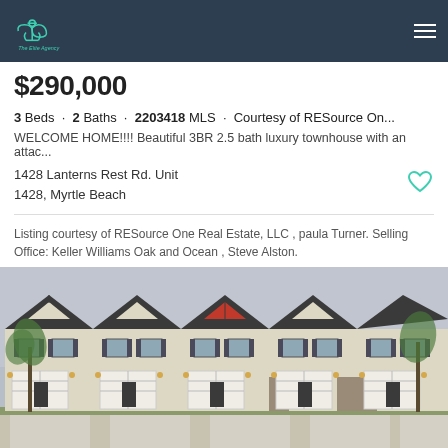The Elite Agency
$290,000
3 Beds · 2 Baths · 2203418 MLS · Courtesy of RESource On...
WELCOME HOME!!!! Beautiful 3BR 2.5 bath luxury townhouse with an attac...
1428 Lanterns Rest Rd. Unit 1428, Myrtle Beach
Listing courtesy of RESource One Real Estate, LLC , paula Turner. Selling Office: Keller Williams Oak and Ocean , Steve Alston.
[Figure (photo): Exterior photo of a row of two-story townhouses with attached garages, light beige/cream siding, dark shutters, and one unit with a red accent dormer. Palm trees and overcast sky in background.]